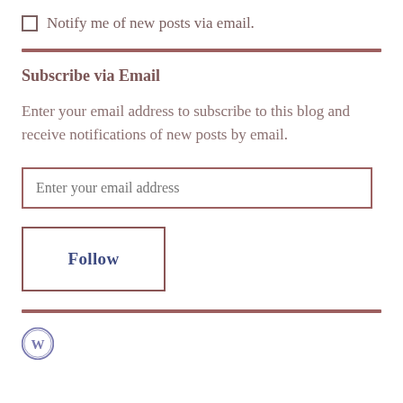Notify me of new posts via email.
Subscribe via Email
Enter your email address to subscribe to this blog and receive notifications of new posts by email.
Enter your email address
Follow
[Figure (logo): WordPress logo icon]